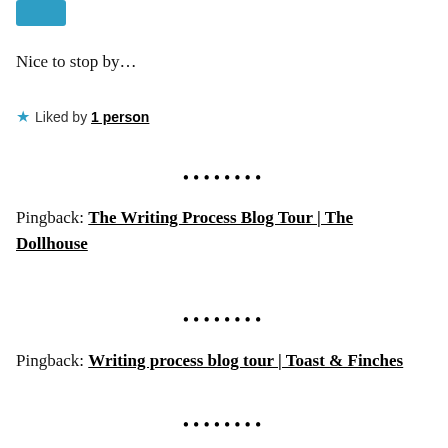[Figure (illustration): Blue avatar/logo image in top-left corner]
Nice to stop by…
★ Liked by 1 person
••••••••
Pingback: The Writing Process Blog Tour | The Dollhouse
••••••••
Pingback: Writing process blog tour | Toast & Finches
••••••••